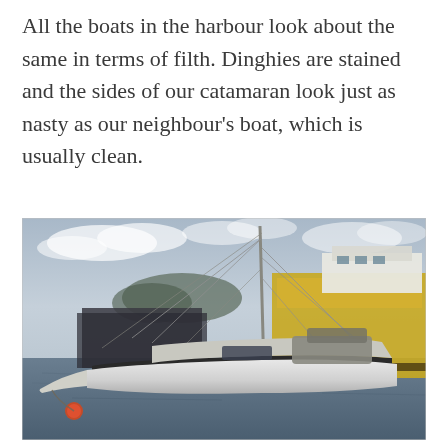All the boats in the harbour look about the same in terms of filth. Dinghies are stained and the sides of our catamaran look just as nasty as our neighbour's boat, which is usually clean.
[Figure (photo): A sailboat moored in a harbour with a large yellow and white vessel/ship visible in the background to the right. The sailboat is white with a dark stripe, mast with rigging, and an orange buoy visible in the foreground water. Cloudy sky and distant hills in the background.]